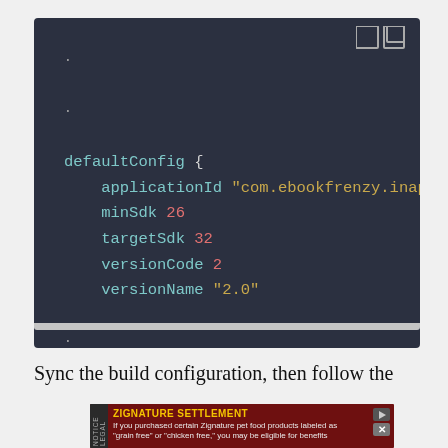[Figure (screenshot): Code editor screenshot showing Android build.gradle defaultConfig block with applicationId, minSdk 26, targetSdk 32, versionCode 2, versionName '2.0' on dark background]
Sync the build configuration, then follow the
[Figure (screenshot): Advertisement banner: ZIGNATURE SETTLEMENT - If you purchased certain Zignature pet food products labeled as 'grain free' or 'chicken free,' you may be eligible for benefits]